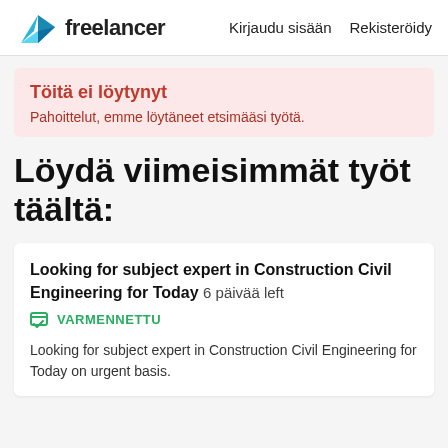[Figure (logo): Freelancer logo with blue origami bird icon and 'freelancer' wordmark]
Kirjaudu sisään   Rekisteröidy
Töitä ei löytynyt
Pahoittelut, emme löytäneet etsimääsi työtä.
Löydä viimeisimmät työt täältä:
Looking for subject expert in Construction Civil Engineering for Today  6 päivää left
VARMENNETTU
Looking for subject expert in Construction Civil Engineering for Today on urgent basis.